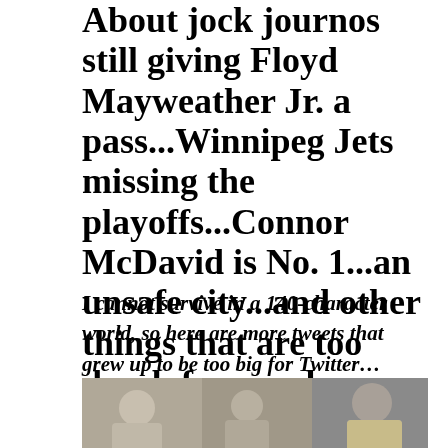About jock journos still giving Floyd Mayweather Jr. a pass...Winnipeg Jets missing the playoffs...Connor McDavid is No. 1...an unsafe city...and other things that are too dumb for words
I cannot survive in a 140-character world, so here are more tweets that grew up to be too big for Twitter…
[Figure (photo): A photograph showing people, likely in an indoor setting, cropped at the bottom of the page]